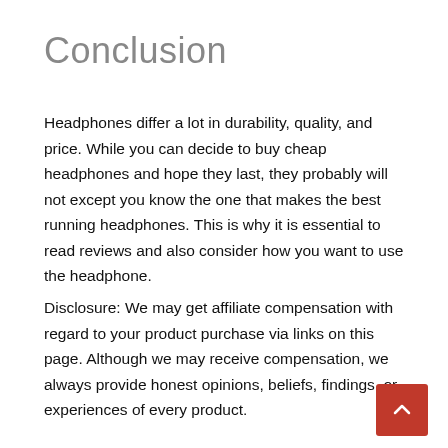Conclusion
Headphones differ a lot in durability, quality, and price. While you can decide to buy cheap headphones and hope they last, they probably will not except you know the one that makes the best running headphones. This is why it is essential to read reviews and also consider how you want to use the headphone.
Disclosure: We may get affiliate compensation with regard to your product purchase via links on this page. Although we may receive compensation, we always provide honest opinions, beliefs, findings, or experiences of every product.